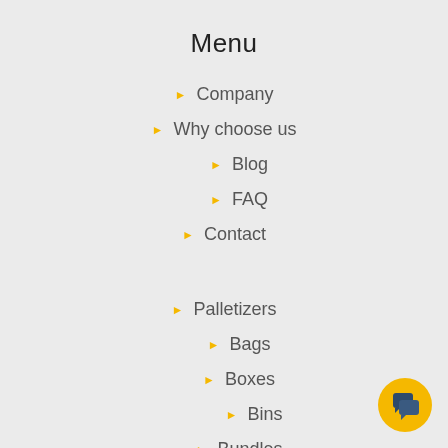Menu
Company
Why choose us
Blog
FAQ
Contact
Palletizers
Bags
Boxes
Bins
Bundles